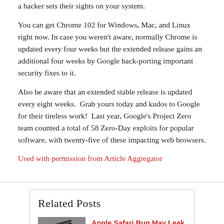a hacker sets their sights on your system.
You can get Chrome 102 for Windows, Mac, and Linux right now. In case you weren't aware, normally Chrome is updated every four weeks but the extended release gains an additional four weeks by Google back-porting important security fixes to it.
Also be aware that an extended stable release is updated every eight weeks.  Grab yours today and kudos to Google for their tireless work!  Last year, Google's Project Zero team counted a total of 58 Zero-Day exploits for popular software, with twenty-five of these impacting web browsers.
Used with permission from Article Aggregator
Related Posts
Apple Safari Bug May Leak Personal Information And History